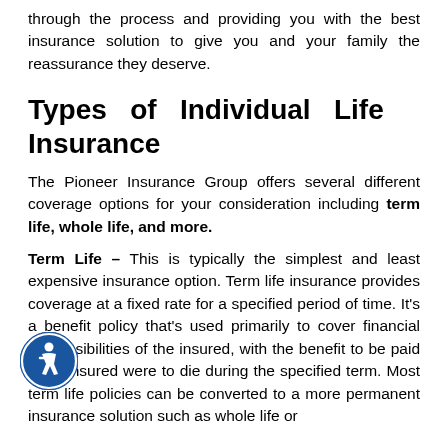through the process and providing you with the best insurance solution to give you and your family the reassurance they deserve.
Types of Individual Life Insurance
The Pioneer Insurance Group offers several different coverage options for your consideration including term life, whole life, and more.
Term Life – This is typically the simplest and least expensive insurance option. Term life insurance provides coverage at a fixed rate for a specified period of time. It's a benefit policy that's used primarily to cover financial responsibilities of the insured, with the benefit to be paid if the insured were to die during the specified term. Most term life policies can be converted to a more permanent insurance solution such as whole life or
[Figure (illustration): Accessibility icon: circular blue button with white wheelchair/person symbol in the center, positioned at bottom-left of the page]